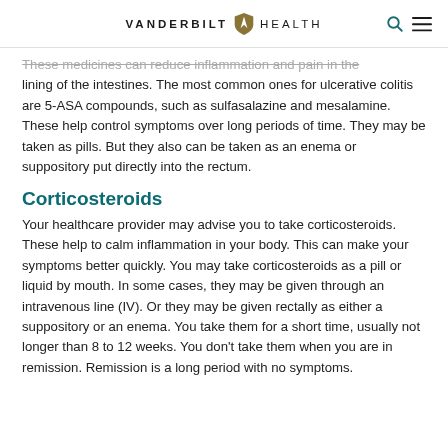VANDERBILT HEALTH
These medicines can reduce inflammation and pain in the lining of the intestines. The most common ones for ulcerative colitis are 5-ASA compounds, such as sulfasalazine and mesalamine. These help control symptoms over long periods of time. They may be taken as pills. But they also can be taken as an enema or suppository put directly into the rectum.
Corticosteroids
Your healthcare provider may advise you to take corticosteroids. These help to calm inflammation in your body. This can make your symptoms better quickly. You may take corticosteroids as a pill or liquid by mouth. In some cases, they may be given through an intravenous line (IV). Or they may be given rectally as either a suppository or an enema. You take them for a short time, usually not longer than 8 to 12 weeks. You don't take them when you are in remission. Remission is a long period with no symptoms.